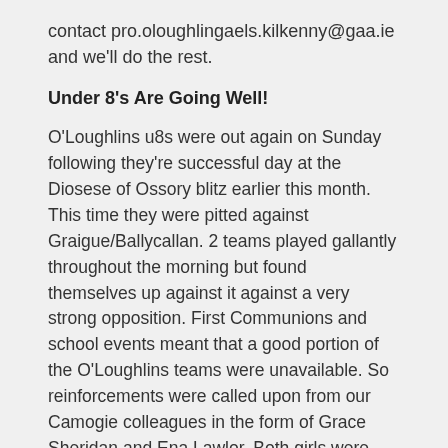contact pro.oloughlingaels.kilkenny@gaa.ie and we'll do the rest.
Under 8's Are Going Well!
O'Loughlins u8s were out again on Sunday following they're successful day at the Diosese of Ossory blitz earlier this month. This time they were pitted against Graigue/Ballycallan. 2 teams played gallantly throughout the morning but found themselves up against it against a very strong opposition. First Communions and school events meant that a good portion of the O'Loughlins teams were unavailable. So reinforcements were called upon from our Camogie colleagues in the form of Grace Sheridan and Ena Lawlor. Both girls were certainly undaunted by the challenge and were arguably the best players on the day. A big thanks to them and to O'Loughlins Camogie for the temporary transfer for this occasion.
2 games were played by both our teams and although they were